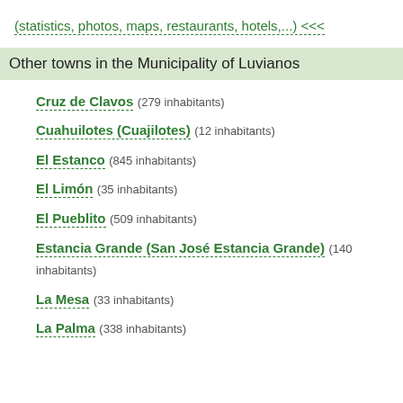(statistics, photos, maps, restaurants, hotels,...) <<<
Other towns in the Municipality of Luvianos
Cruz de Clavos (279 inhabitants)
Cuahuilotes (Cuajilotes) (12 inhabitants)
El Estanco (845 inhabitants)
El Limón (35 inhabitants)
El Pueblito (509 inhabitants)
Estancia Grande (San José Estancia Grande) (140 inhabitants)
La Mesa (33 inhabitants)
La Palma (338 inhabitants)